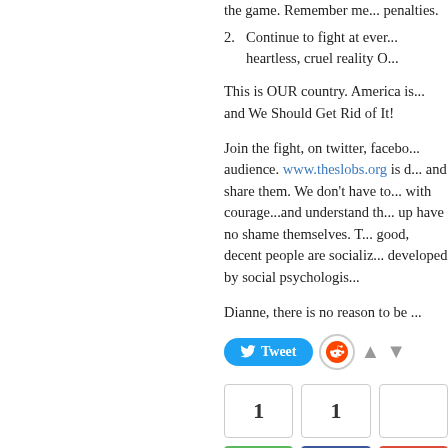the game. Remember me... penalties.
2. Continue to fight at ever... heartless, cruel reality O...
This is OUR country. America is... and We Should Get Rid of It!
Join the fight, on twitter, facebo... audience. www.theslobs.org is d... and share them. We don't have to... with courage...and understand th... up have no shame themselves. T... good, decent people are socializ... developed by social psychologis...
Dianne, there is no reason to be ...
[Figure (screenshot): Social sharing bar with Tweet button, Reddit button, up and down vote arrows, and share count boxes showing 1 and 1, plus Share buttons for social networks.]